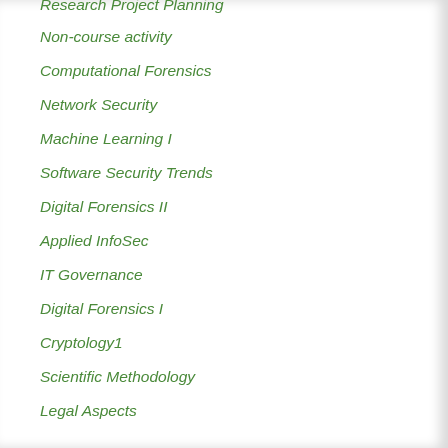Research Project Planning
Non-course activity
Computational Forensics
Network Security
Machine Learning I
Software Security Trends
Digital Forensics II
Applied InfoSec
IT Governance
Digital Forensics I
Cryptology1
Scientific Methodology
Legal Aspects